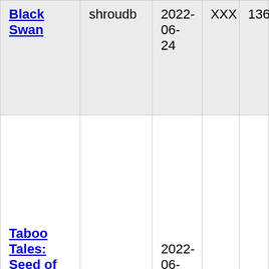| Black Swan | shroudb | 2022-06-24 | XXX | 136 |
| Taboo Tales: Seed of Corruption | HannahIfOnly | 2022-06-23 | XXX | 56 |